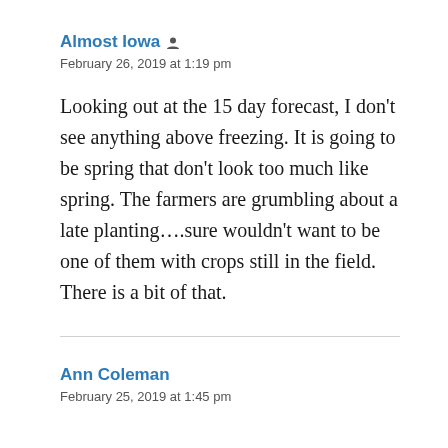Almost Iowa
February 26, 2019 at 1:19 pm
Looking out at the 15 day forecast, I don't see anything above freezing. It is going to be spring that don't look too much like spring. The farmers are grumbling about a late planting....sure wouldn't want to be one of them with crops still in the field. There is a bit of that.
Ann Coleman
February 25, 2019 at 1:45 pm